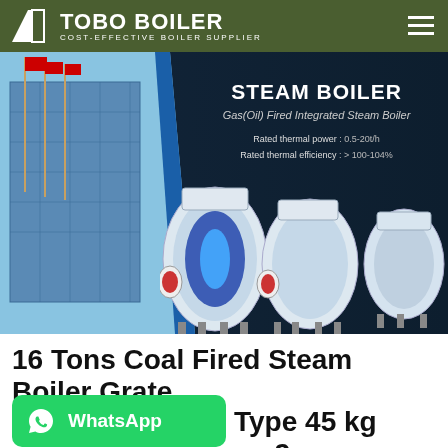TOBO BOILER — COST-EFFECTIVE BOILER SUPPLIER
[Figure (photo): Hero banner showing industrial building with flagpoles on the left and three Gas/Oil Fired Integrated Steam Boilers on a dark background. Text overlay reads STEAM BOILER, Gas(Oil) Fired Integrated Steam Boiler, Rated thermal power: 0.5-20t/h, Rated thermal efficiency: > 100-104%]
16 Tons Coal Fired Steam Boiler Grate Type 45 kg cm2